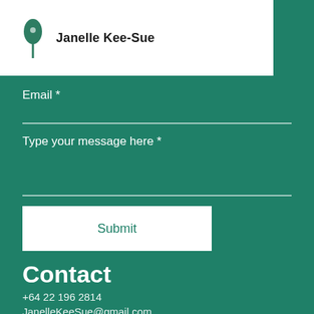Janelle Kee-Sue
Email *
Type your message here *
Submit
Contact
+64 22 196 2814
JanelleKeeSue@gmail.com